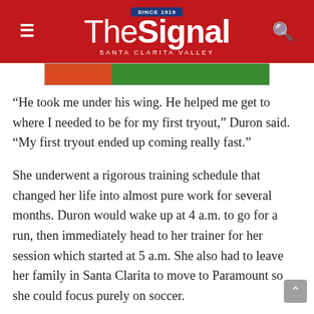The Signal — Santa Clarita Valley — Since 1919
[Figure (screenshot): Partially visible image strip showing green and red/orange colors, likely a sports field image]
“He took me under his wing. He helped me get to where I needed to be for my first tryout,” Duron said. “My first tryout ended up coming really fast.”
She underwent a rigorous training schedule that changed her life into almost pure work for several months. Duron would wake up at 4 a.m. to go for a run, then immediately head to her trainer for her session which started at 5 a.m. She also had to leave her family in Santa Clarita to move to Paramount so she could focus purely on soccer.